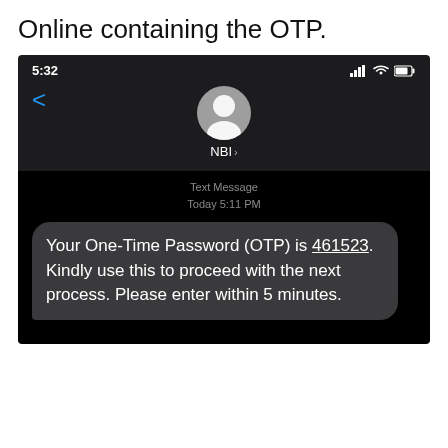Online containing the OTP.
[Figure (screenshot): Mobile phone screenshot showing a text message from NBI. Status bar shows time 5:32. Message reads: 'Your One-Time Password (OTP) is 461523. Kindly use this to proceed with the next process. Please enter within 5 minutes.' Timestamp shows Today 5:11 PM.]